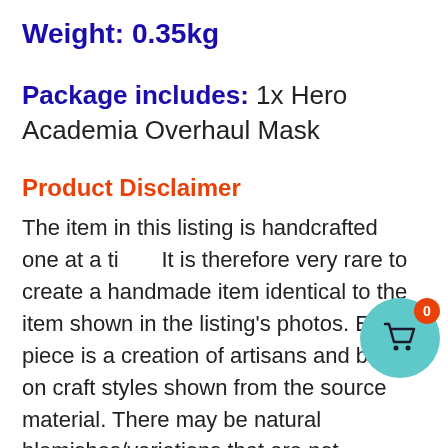Weight: 0.35kg
Package includes: 1x Hero Academia Overhaul Mask
Product Disclaimer
The item in this listing is handcrafted one at a ti... It is therefore very rare to create a handmade item identical to the item shown in the listing's photos. Every piece is a creation of artisans and based on craft styles shown from the source material. There may be natural blemishes/variations that are not product flaws. Such variations are inherent in the manufacturing of handmade products, so you may
[Figure (illustration): Shopping cart icon in a teal circle with an orange badge showing the number 0]